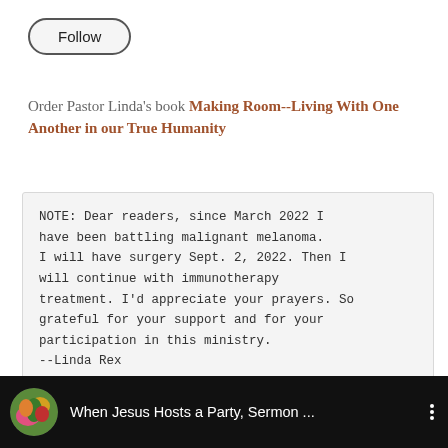Follow
Order Pastor Linda's book Making Room--Living With One Another in our True Humanity
NOTE: Dear readers, since March 2022 I have been battling malignant melanoma. I will have surgery Sept. 2, 2022. Then I will continue with immunotherapy treatment. I'd appreciate your prayers. So grateful for your support and for your participation in this ministry.
--Linda Rex
[Figure (screenshot): YouTube video bar showing thumbnail and title 'When Jesus Hosts a Party, Sermon ...' on dark background]